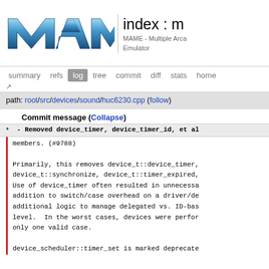[Figure (logo): MAME logo - stylized metallic blue text]
index : m
MAME - Multiple Arca... Emulator
summary  refs  log  tree  commit  diff  stats  home
path: root/src/devices/sound/huc6230.cpp (follow)
Commit message (Collapse)
* - Removed device_timer, device_timer_id, et al
members. (#9788)

Primarily, this removes device_t::device_timer,
device_t::synchronize, device_t::timer_expired,
Use of device_timer often resulted in unnecessa...
addition to switch/case overhead on a driver/de...
additional logic to manage delegated vs. ID-bas...
level.  In the worst cases, devices were perfor...
only one valid case.

device_scheduler::timer_set is marked deprecate...